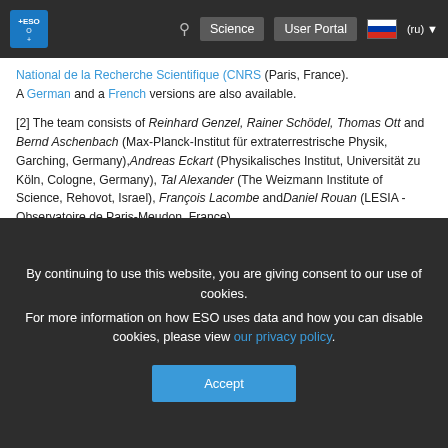ESO navigation bar with logo, search, Science, User Portal, (ru) language selector
National de la Recherche Scientifique (CNRS) (Paris, France). A German and a French versions are also available.
[2] The team consists of Reinhard Genzel, Rainer Schödel, Thomas Ott and Bernd Aschenbach (Max-Planck-Institut für extraterrestrische Physik, Garching, Germany),Andreas Eckart (Physikalisches Institut, Universität zu Köln, Cologne, Germany), Tal Alexander (The Weizmann Institute of Science, Rehovot, Israel), François Lacombe and Daniel Rouan (LESIA - Observatoire de Paris-Meudon, France).
[3] The NACO facility has two major components, CONICA and NAOS . The COudé Near-Infrared CAmera (CONICA) was developed by a German Consortium, with an extensive ESO collaboration. The Consortium consists of Max-Planck-Institut für
By continuing to use this website, you are giving consent to our use of cookies. For more information on how ESO uses data and how you can disable cookies, please view our privacy policy.